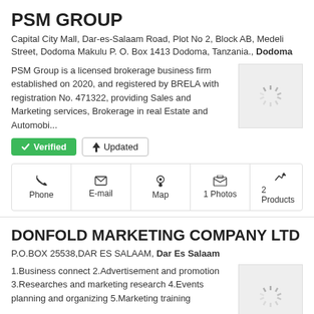PSM GROUP
Capital City Mall, Dar-es-Salaam Road, Plot No 2, Block AB, Medeli Street, Dodoma Makulu P. O. Box 1413 Dodoma, Tanzania., Dodoma
PSM Group is a licensed brokerage business firm established on 2020, and registered by BRELA with registration No. 471322, providing Sales and Marketing services, Brokerage in real Estate and Automobi...
[Figure (illustration): Loading spinner icon on grey background]
✓ Verified   ⚡ Updated
Phone   E-mail   Map   1 Photos   2 Products
DONFOLD MARKETING COMPANY LTD
P.O.BOX 25538,DAR ES SALAAM, Dar Es Salaam
1.Business connect 2.Advertisement and promotion 3.Researches and marketing research 4.Events planning and organizing 5.Marketing training
[Figure (illustration): Loading spinner icon on grey background]
✓ Verified   +6 Years with us